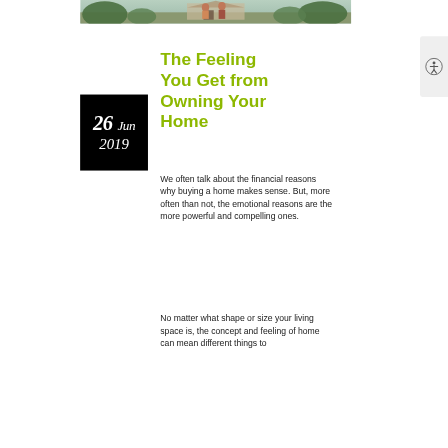[Figure (photo): Photo banner showing people standing in front of a home, with greenery in the background]
The Feeling You Get from Owning Your Home
26 Jun 2019
We often talk about the financial reasons why buying a home makes sense. But, more often than not, the emotional reasons are the more powerful and compelling ones.
No matter what shape or size your living space is, the concept and feeling of home can mean different things to